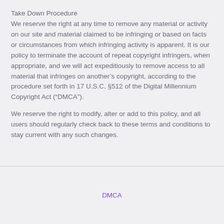Take Down Procedure
We reserve the right at any time to remove any material or activity on our site and material claimed to be infringing or based on facts or circumstances from which infringing activity is apparent. It is our policy to terminate the account of repeat copyright infringers, when appropriate, and we will act expeditiously to remove access to all material that infringes on another’s copyright, according to the procedure set forth in 17 U.S.C. §512 of the Digital Millennium Copyright Act (“DMCA”).
We reserve the right to modify, alter or add to this policy, and all users should regularly check back to these terms and conditions to stay current with any such changes.
DMCA